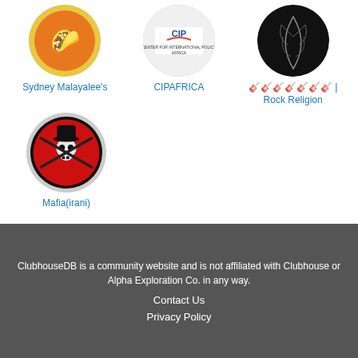[Figure (photo): Circular avatar image for Sydney Malayalee's - colorful logo]
Sydney Malayalee's
[Figure (logo): Circular avatar with CIPAFRICA logo - Center for International Policy Africa]
CIPAFRICA
[Figure (photo): Circular avatar with dark background and smoke/feather design]
🎸🎸🎸🎸🎸🎸🎸 | Rock Religion
[Figure (photo): Circular avatar with skull and crossguns on red background - Mafia(irani)]
Mafia(irani)
ClubhouseDB is a community website and is not affiliated with Clubhouse or Alpha Exploration Co. in any way.
Contact Us
Privacy Policy